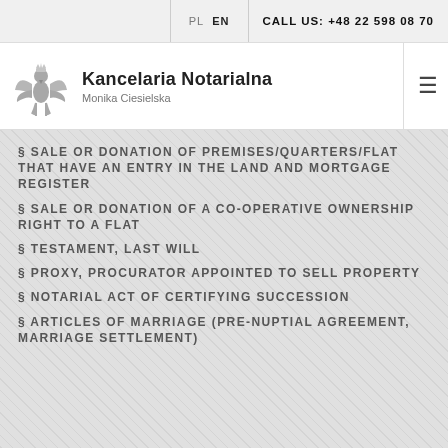PL  EN   CALL US: +48 22 598 08 70
[Figure (logo): Kancelaria Notarialna Monika Ciesielska logo with Polish eagle emblem]
§ SALE OR DONATION OF PREMISES/QUARTERS/FLAT THAT HAVE AN ENTRY IN THE LAND AND MORTGAGE REGISTER
§ SALE OR DONATION OF A CO-OPERATIVE OWNERSHIP RIGHT TO A FLAT
§ TESTAMENT, LAST WILL
§ PROXY, PROCURATOR APPOINTED TO SELL PROPERTY
§ NOTARIAL ACT OF CERTIFYING SUCCESSION
§ ARTICLES OF MARRIAGE (PRE-NUPTIAL AGREEMENT, MARRIAGE SETTLEMENT)